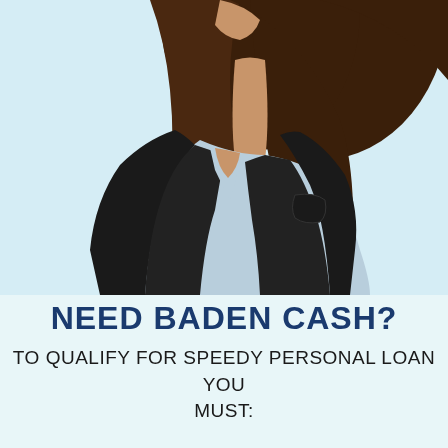[Figure (photo): A woman in a black blazer over a light blue shirt, photographed from shoulders up/torso, posed against a light blue/teal background. Only the torso and lower face/hair are visible.]
NEED BADEN CASH?
TO QUALIFY FOR SPEEDY PERSONAL LOAN YOU MUST: